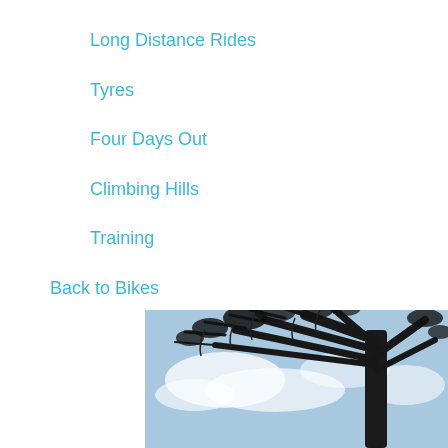Long Distance Rides
Tyres
Four Days Out
Climbing Hills
Training
Back to Bikes
[Figure (photo): Photograph of a large eucalyptus tree with dark branches against a blue sky with white clouds, taken from below looking up.]